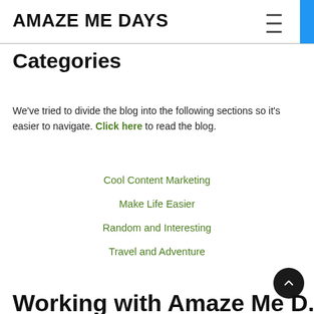AMAZE ME DAYS
Categories
We've tried to divide the blog into the following sections so it's easier to navigate. Click here to read the blog.
Cool Content Marketing
Make Life Easier
Random and Interesting
Travel and Adventure
Working with Amaze Me D...